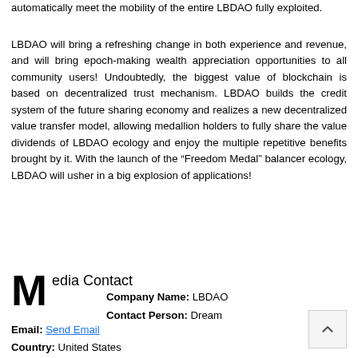automatically meet the mobility of the entire LBDAO fully exploited.
LBDAO will bring a refreshing change in both experience and revenue, and will bring epoch-making wealth appreciation opportunities to all community users! Undoubtedly, the biggest value of blockchain is based on decentralized trust mechanism. LBDAO builds the credit system of the future sharing economy and realizes a new decentralized value transfer model, allowing medallion holders to fully share the value dividends of LBDAO ecology and enjoy the multiple repetitive benefits brought by it. With the launch of the “Freedom Medal” balancer ecology, LBDAO will usher in a big explosion of applications!
Media Contact
Company Name: LBDAO
Contact Person: Dream
Email: Send Email
Country: United States